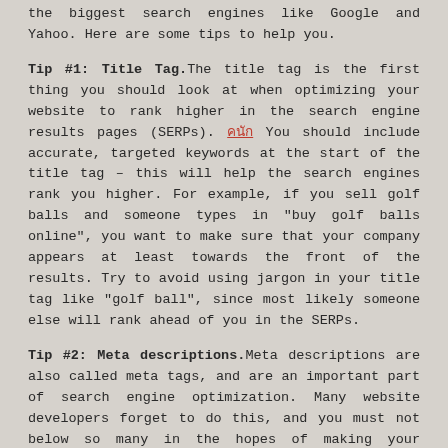the biggest search engines like Google and Yahoo. Here are some tips to help you.
Tip #1: Title Tag.The title tag is the first thing you should look at when optimizing your website to rank higher in the search engine results pages (SERPs). คนัก You should include accurate, targeted keywords at the start of the title tag – this will help the search engines rank you higher. For example, if you sell golf balls and someone types in "buy golf balls online", you want to make sure that your company appears at least towards the front of the results. Try to avoid using jargon in your title tag like "golf ball", since most likely someone else will rank ahead of you in the SERPs.
Tip #2: Meta descriptions.Meta descriptions are also called meta tags, and are an important part of search engine optimization. Many website developers forget to do this, and you must not below so many in the hopes of making your website more visible. It's a really good idea to include links to your website within the web page code. If there are